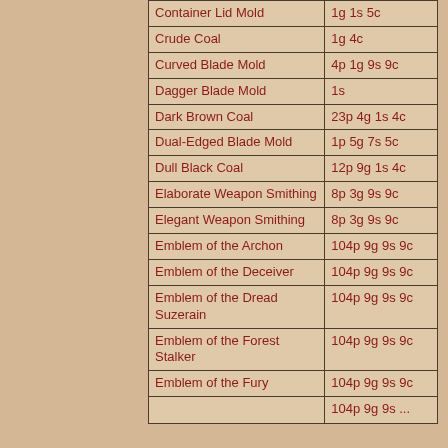| Item | Price |
| --- | --- |
| Container Lid Mold | 1g 1s 5c |
| Crude Coal | 1g 4c |
| Curved Blade Mold | 4p 1g 9s 9c |
| Dagger Blade Mold | 1s |
| Dark Brown Coal | 23p 4g 1s 4c |
| Dual-Edged Blade Mold | 1p 5g 7s 5c |
| Dull Black Coal | 12p 9g 1s 4c |
| Elaborate Weapon Smithing | 8p 3g 9s 9c |
| Elegant Weapon Smithing | 8p 3g 9s 9c |
| Emblem of the Archon | 104p 9g 9s 9c |
| Emblem of the Deceiver | 104p 9g 9s 9c |
| Emblem of the Dread Suzerain | 104p 9g 9s 9c |
| Emblem of the Forest Stalker | 104p 9g 9s 9c |
| Emblem of the Fury | 104p 9g 9s 9c |
| ... | 104p 9g 9s ... |